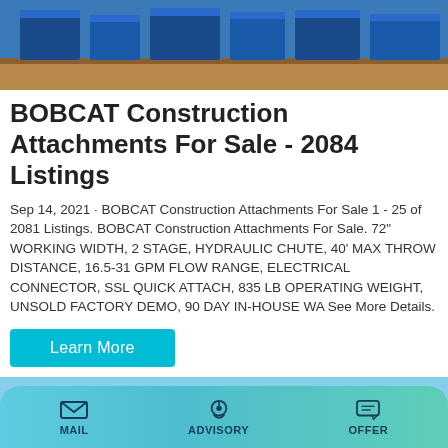[Figure (photo): Photo of construction equipment/attachments on a flatbed trailer, blue sky background]
BOBCAT Construction Attachments For Sale - 2084 Listings
Sep 14, 2021 · BOBCAT Construction Attachments For Sale 1 - 25 of 2081 Listings. BOBCAT Construction Attachments For Sale. 72" WORKING WIDTH, 2 STAGE, HYDRAULIC CHUTE, 40' MAX THROW DISTANCE, 16.5-31 GPM FLOW RANGE, ELECTRICAL CONNECTOR, SSL QUICK ATTACH, 835 LB OPERATING WEIGHT, UNSOLD FACTORY DEMO, 90 DAY IN-HOUSE WA See More Details.
Learn More
[Figure (photo): Photo of industrial silos with blue and white coloring against a blue sky with clouds]
MAIL  ADVISORY  OFFER